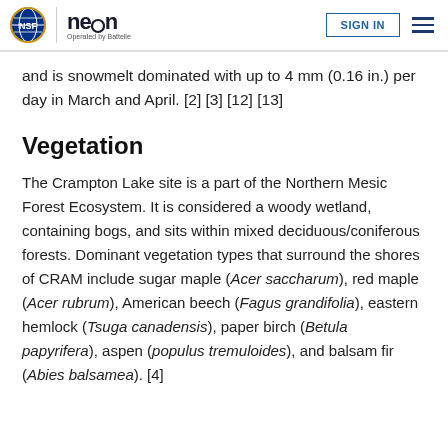NEON | SIGN IN
and is snowmelt dominated with up to 4 mm (0.16 in.) per day in March and April. [2] [3] [12] [13]
Vegetation
The Crampton Lake site is a part of the Northern Mesic Forest Ecosystem. It is considered a woody wetland, containing bogs, and sits within mixed deciduous/coniferous forests. Dominant vegetation types that surround the shores of CRAM include sugar maple (Acer saccharum), red maple (Acer rubrum), American beech (Fagus grandifolia), eastern hemlock (Tsuga canadensis), paper birch (Betula papyrifera), aspen (populus tremuloides), and balsam fir (Abies balsamea). [4]